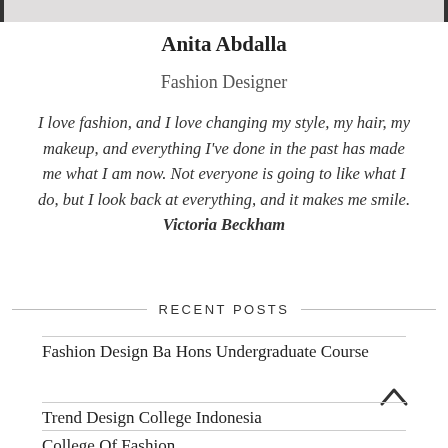[Figure (photo): Partial photo strip at top of page showing a person in white clothing]
Anita Abdalla
Fashion Designer
I love fashion, and I love changing my style, my hair, my makeup, and everything I've done in the past has made me what I am now. Not everyone is going to like what I do, but I look back at everything, and it makes me smile. Victoria Beckham
RECENT POSTS
Fashion Design Ba Hons Undergraduate Course
Trend Design College Indonesia
College Of Fashion